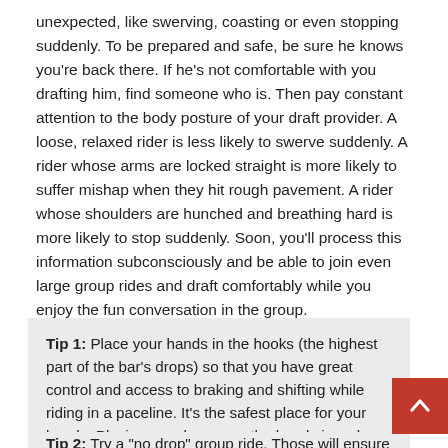unexpected, like swerving, coasting or even stopping suddenly. To be prepared and safe, be sure he knows you're back there. If he's not comfortable with you drafting him, find someone who is. Then pay constant attention to the body posture of your draft provider. A loose, relaxed rider is less likely to swerve suddenly. A rider whose arms are locked straight is more likely to suffer mishap when they hit rough pavement. A rider whose shoulders are hunched and breathing hard is more likely to stop suddenly. Soon, you'll process this information subconsciously and be able to join even large group rides and draft comfortably while you enjoy the fun conversation in the group.
Tip 1: Place your hands in the hooks (the highest part of the bar's drops) so that you have great control and access to braking and shifting while riding in a paceline. It's the safest place for your hands. Placing your hands on the hoods is a close substitute.
Tip 2: Try a "no drop" group ride. These will ensure